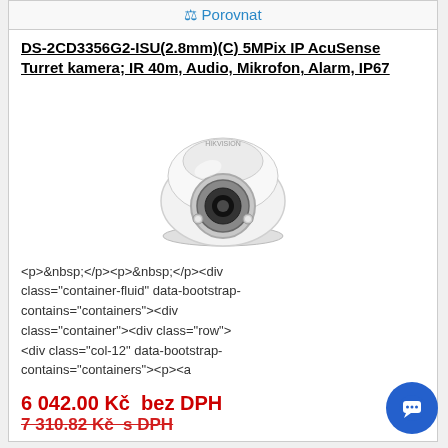⚖ Porovnat
DS-2CD3356G2-ISU(2.8mm)(C) 5MPix IP AcuSense Turret kamera; IR 40m, Audio, Mikrofon, Alarm, IP67
[Figure (photo): White dome/turret IP security camera product photo on white background]
<p>&nbsp;</p><p>&nbsp;</p><div class="container-fluid" data-bootstrap-contains="containers"><div class="container"><div class="row"> <div class="col-12" data-bootstrap-contains="containers"><p><a
6 042.00 Kč  bez DPH
7 310.82 Kč  s DPH
K provozování našeho webu www.telexion.cz využíváme takzvané cookies. Cookies jsou soubory sloužící k přizpůsobení obsahu webu, k měření jeho funkčnosti a obecně k zajištění vaší maximální spokojenosti. Používáním tohoto webu souhlasíte se způsobem, jakým s cookies nakládáme.
OK